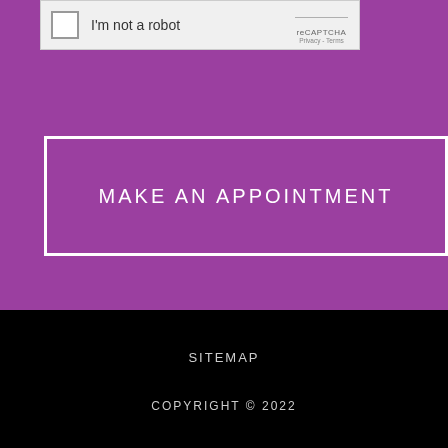[Figure (other): reCAPTCHA widget with checkbox labeled 'I'm not a robot', reCAPTCHA logo, and Privacy/Terms links]
MAKE AN APPOINTMENT
SITEMAP
COPYRIGHT © 2022